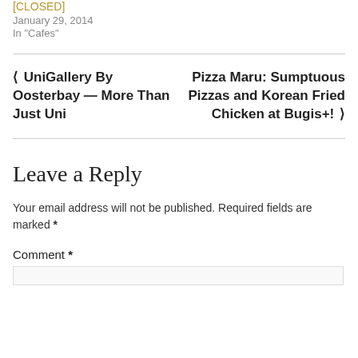[CLOSED]
January 29, 2014
In "Cafes"
◄ UniGallery By Oosterbay — More Than Just Uni
Pizza Maru: Sumptuous Pizzas and Korean Fried Chicken at Bugis+! ►
Leave a Reply
Your email address will not be published. Required fields are marked *
Comment *